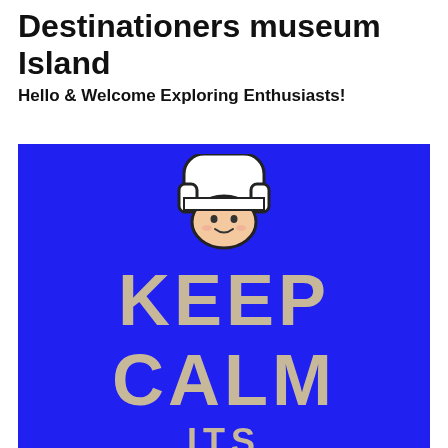Destinationers museum Island
Hello & Welcome Exploring Enthusiasts!
[Figure (illustration): A 'Keep Calm' style poster with blue background featuring a cartoon Finn character (Adventure Time) on top and the text KEEP CALM ITS in tan/beige serif-style letters]